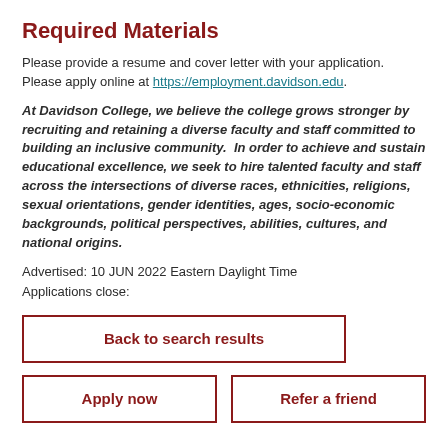Required Materials
Please provide a resume and cover letter with your application. Please apply online at https://employment.davidson.edu.
At Davidson College, we believe the college grows stronger by recruiting and retaining a diverse faculty and staff committed to building an inclusive community.  In order to achieve and sustain educational excellence, we seek to hire talented faculty and staff across the intersections of diverse races, ethnicities, religions, sexual orientations, gender identities, ages, socio-economic backgrounds, political perspectives, abilities, cultures, and national origins.
Advertised: 10 JUN 2022 Eastern Daylight Time
Applications close:
Back to search results
Apply now
Refer a friend